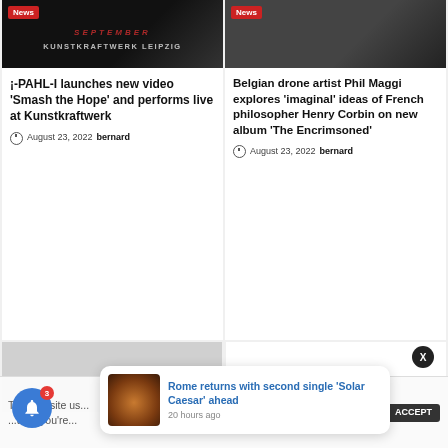[Figure (photo): Dark news article image with 'SEPTEMBER KUNSTKRAFTWERK LEIPZIG' text overlay and red News badge]
¡-PAHL-I launches new video 'Smash the Hope' and performs live at Kunstkraftwerk
August 23, 2022  bernard
[Figure (photo): Dark news article image with red News badge]
Belgian drone artist Phil Maggi explores 'imaginal' ideas of French philosopher Henry Corbin on new album 'The Encrimsoned'
August 23, 2022  bernard
[Figure (photo): Partially visible grey image at bottom left]
This website us... ...ume you're...
Cookie settings   ACCEPT
[Figure (photo): Push notification thumbnail showing circular light patterns on dark background]
Rome returns with second single 'Solar Caesar' ahead
20 hours ago